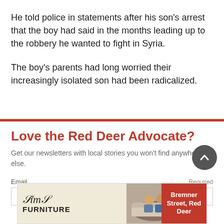He told police in statements after his son's arrest that the boy had said in the months leading up to the robbery he wanted to fight in Syria.
The boy's parents had long worried their increasingly isolated son had been radicalized.
Love the Red Deer Advocate?
Get our newsletters with local stories you won't find anywhere else.
Email
Required
[Figure (illustration): Sims Furniture advertisement banner showing logo and two people on a couch with text 'Bremner Street, Red Deer']